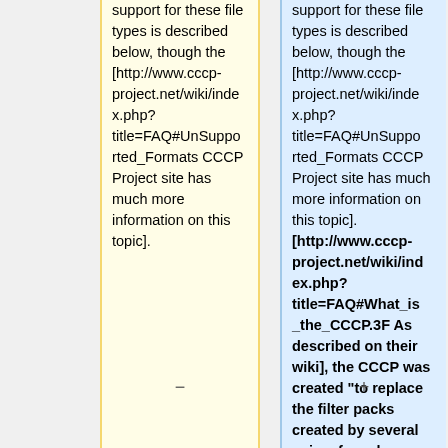support for these file types is described below, though the [http://www.cccp-project.net/wiki/index.php?title=FAQ#UnSupported_Formats CCCP Project site has much more information on this topic].
support for these file types is described below, though the [http://www.cccp-project.net/wiki/index.php?title=FAQ#UnSupported_Formats CCCP Project site has much more information on this topic]. [http://www.cccp-project.net/wiki/index.php?title=FAQ#What_is_the_CCCP.3F As described on their wiki], the CCCP was created "to replace the filter packs created by several anime fansub groups into a single reliable